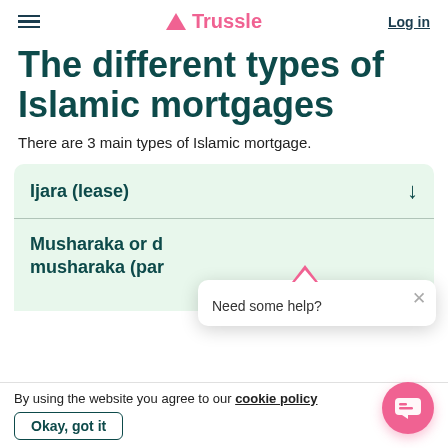Trussle — Log in
The different types of Islamic mortgages
There are 3 main types of Islamic mortgage.
Ijara (lease)
Musharaka or diminishing musharaka (par…)
Need some help?
By using the website you agree to our cookie policy
Okay, got it